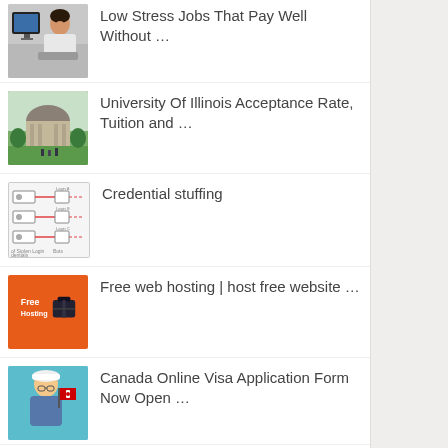Low Stress Jobs That Pay Well Without ...
University Of Illinois Acceptance Rate, Tuition and ...
Credential stuffing
Free web hosting | host free website ...
Canada Online Visa Application Form Now Open ...